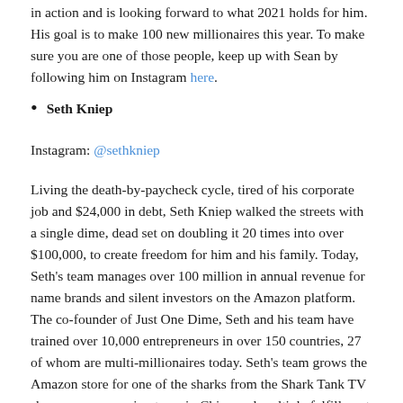in action and is looking forward to what 2021 holds for him. His goal is to make 100 new millionaires this year. To make sure you are one of those people, keep up with Sean by following him on Instagram here.
Seth Kniep
Instagram: @sethkniep
Living the death-by-paycheck cycle, tired of his corporate job and $24,000 in debt, Seth Kniep walked the streets with a single dime, dead set on doubling it 20 times into over $100,000, to create freedom for him and his family. Today, Seth's team manages over 100 million in annual revenue for name brands and silent investors on the Amazon platform. The co-founder of Just One Dime, Seth and his team have trained over 10,000 entrepreneurs in over 150 countries, 27 of whom are multi-millionaires today. Seth's team grows the Amazon store for one of the sharks from the Shark Tank TV show, runs a sourcing team in China and multiple fulfillment centers across the US, and was requested by two countries to train their top businesses. Headquartered in Austin, TX, Seth is raising an army of investors and entrepreneurs and achieving an...